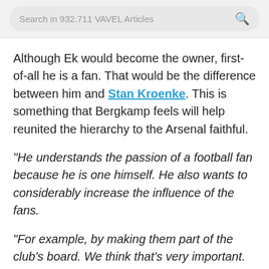Search in 932.711 VAVEL Articles
Although Ek would become the owner, first-of-all he is a fan. That would be the difference between him and Stan Kroenke. This is something that Bergkamp feels will help reunited the hierarchy to the Arsenal faithful.
"He understands the passion of a football fan because he is one himself. He also wants to considerably increase the influence of the fans.
"For example, by making them part of the club's board. We think that's very important. We want to get closer to the fans.